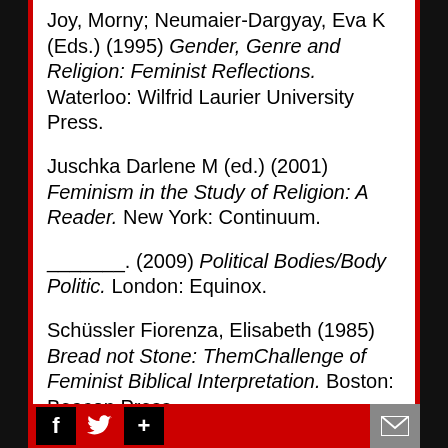Joy, Morny; Neumaier-Dargyay, Eva K (Eds.) (1995) Gender, Genre and Religion: Feminist Reflections. Waterloo: Wilfrid Laurier University Press.
Juschka Darlene M (ed.) (2001) Feminism in the Study of Religion: A Reader. New York: Continuum.
_______. (2009) Political Bodies/Body Politic. London: Equinox.
Schüssler Fiorenza, Elisabeth (1985) Bread not Stone: ThemChallenge of Feminist Biblical Interpretation. Boston: Beacon Press
_______. (1985) Claiming the